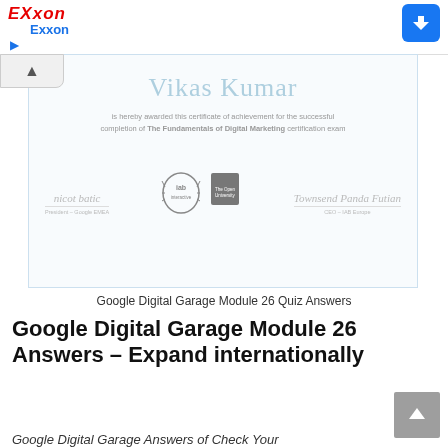[Figure (screenshot): Exxon advertisement banner with red italic EXXON logo and blue Exxon text, Facebook icon top right, play and close controls bottom left]
[Figure (photo): Google Digital Garage certificate of achievement awarded to Vikas Kumar for successful completion of The Fundamentals of Digital Marketing certification exam. Shows signatures of President Google EMEA and CEO IAB Europe, with IAB and The Open University logos in the center.]
Google Digital Garage Module 26 Quiz Answers
Google Digital Garage Module 26 Answers – Expand internationally
Google Digital Garage Answers of Check Your